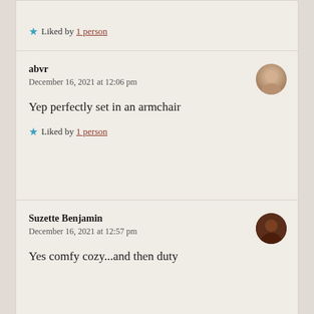Liked by 1 person
abvr
December 16, 2021 at 12:06 pm
Yep perfectly set in an armchair
Liked by 1 person
Suzette Benjamin
December 16, 2021 at 12:57 pm
Yes comfy cozy...and then duty